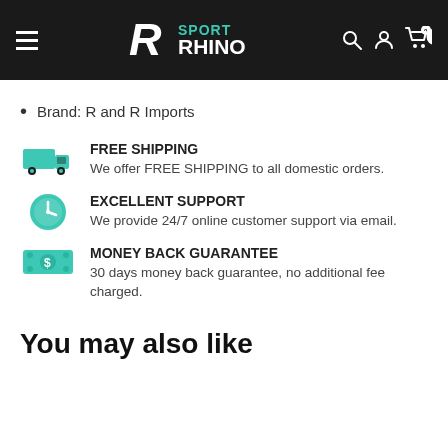Sport Rhino – navigation header with hamburger menu, logo, search, account, and cart icons
Brand: R and R Imports
FREE SHIPPING
We offer FREE SHIPPING to all domestic orders.
EXCELLENT SUPPORT
We provide 24/7 online customer support via email.
MONEY BACK GUARANTEE
30 days money back guarantee, no additional fee charged.
You may also like